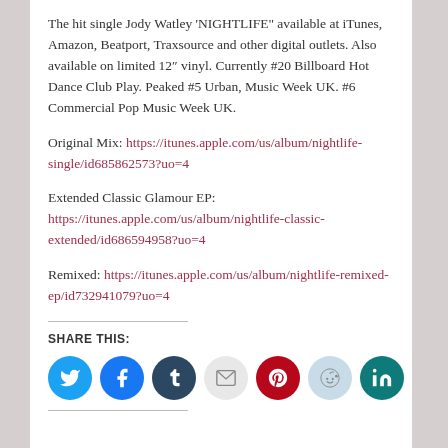The hit single Jody Watley 'NIGHTLIFE" available at iTunes, Amazon, Beatport, Traxsource and other digital outlets. Also available on limited 12″ vinyl. Currently #20 Billboard Hot Dance Club Play. Peaked #5 Urban, Music Week UK. #6 Commercial Pop Music Week UK.
Original Mix: https://itunes.apple.com/us/album/nightlife-single/id685862573?uo=4
Extended Classic Glamour EP: https://itunes.apple.com/us/album/nightlife-classic-extended/id686594958?uo=4
Remixed: https://itunes.apple.com/us/album/nightlife-remixed-ep/id732941079?uo=4
SHARE THIS:
[Figure (infographic): Row of social media share icons: Twitter (blue), Facebook (blue), Tumblr (dark navy), Email (light gray), Pinterest (red), Reddit (light blue), LinkedIn (teal)]